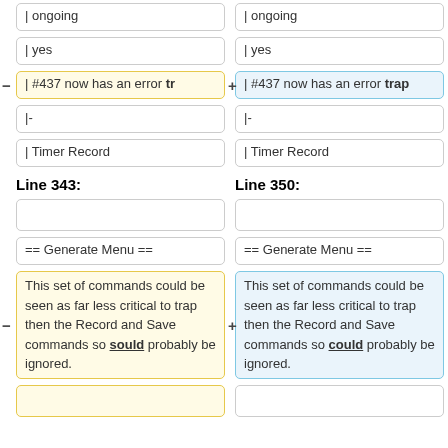| ongoing
| yes
| #437 now has an error tr (removed) / trap (added)
|-
| Timer Record
Line 343:
Line 350:
== Generate Menu ==
This set of commands could be seen as far less critical to trap then the Record and Save commands so sould probably be ignored. (removed) / could (added)